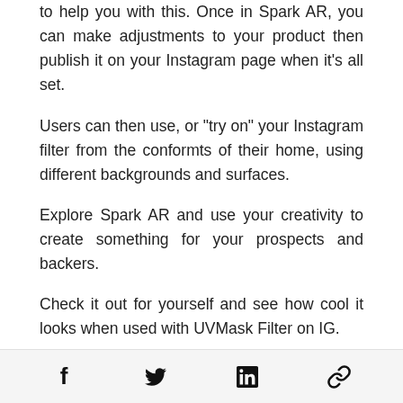to help you with this. Once in Spark AR, you can make adjustments to your product then publish it on your Instagram page when it's all set.
Users can then use, or "try on" your Instagram filter from the conformts of their home, using different backgrounds and surfaces.
Explore Spark AR and use your creativity to create something for your prospects and backers.
Check it out for yourself and see how cool it looks when used with UVMask Filter on IG.
Social share icons: Facebook, Twitter, LinkedIn, Link